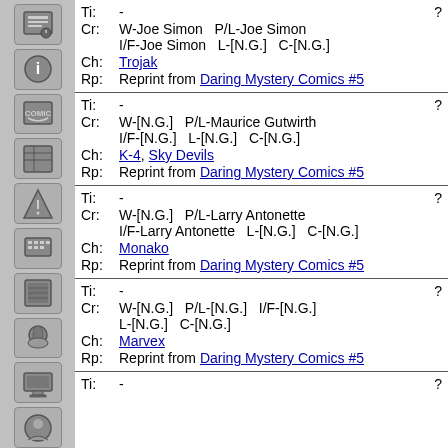Ti: -  ?  Cr: W-Joe Simon  P/L-Joe Simon  I/F-Joe Simon  L-[N.G.]  C-[N.G.]  Ch: Trojak  Rp: Reprint from Daring Mystery Comics #5
Ti: -  ?  Cr: W-[N.G.]  P/L-Maurice Gutwirth  I/F-[N.G.]  L-[N.G.]  C-[N.G.]  Ch: K-4, Sky Devils  Rp: Reprint from Daring Mystery Comics #5
Ti: -  ?  Cr: W-[N.G.]  P/L-Larry Antonette  I/F-Larry Antonette  L-[N.G.]  C-[N.G.]  Ch: Monako  Rp: Reprint from Daring Mystery Comics #5
Ti: -  ?  Cr: W-[N.G.]  P/L-[N.G.]  I/F-[N.G.]  L-[N.G.]  C-[N.G.]  Ch: Marvex  Rp: Reprint from Daring Mystery Comics #5
Ti: -  ?